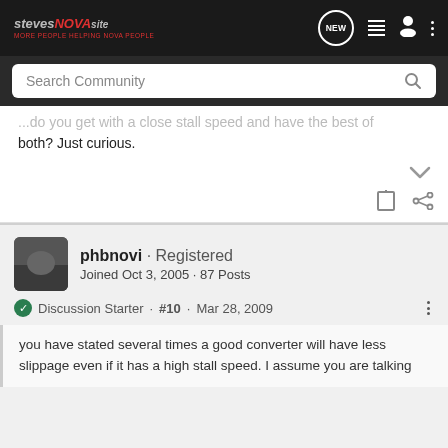Steves NOVA Site — navigation bar with NEW, list, user, and menu icons
Search Community
...do you get with a close stall speed and have the best of both? Just curious.
phbnovi · Registered
Joined Oct 3, 2005 · 87 Posts
Discussion Starter · #10 · Mar 28, 2009
you have stated several times a good converter will have less slippage even if it has a high stall speed. I assume you are talking